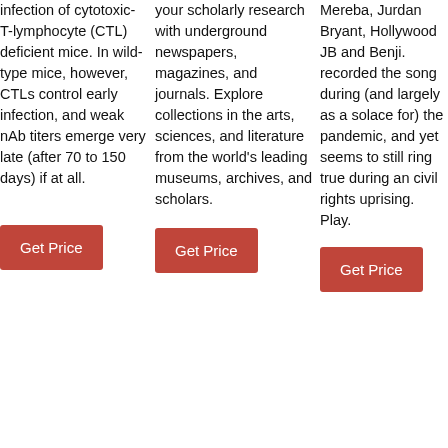infection of cytotoxic-T-lymphocyte (CTL) deficient mice. In wild-type mice, however, CTLs control early infection, and weak nAb titers emerge very late (after 70 to 150 days) if at all.
Get Price
your scholarly research with underground newspapers, magazines, and journals. Explore collections in the arts, sciences, and literature from the world's leading museums, archives, and scholars.
Get Price
Mereba, Jurdan Bryant, Hollywood JB and Benji. recorded the song during (and largely as a solace for) the pandemic, and yet seems to still ring true during an civil rights uprising. Play.
Get Price